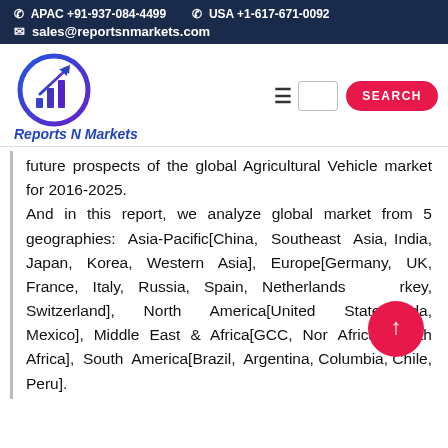APAC +91-937-084-4499   USA +1-617-671-0092   sales@reportsnmarkets.com
[Figure (logo): Reports N Markets logo — circular chart icon with upward arrow in blue/purple gradient, with company name 'Reports N Markets' in bold italic blue below]
future prospects of the global Agricultural Vehicle market for 2016-2025. And in this report, we analyze global market from 5 geographies: Asia-Pacific[China, Southeast Asia, India, Japan, Korea, Western Asia], Europe[Germany, UK, France, Italy, Russia, Spain, Netherlands, Turkey, Switzerland], North America[United States, Canada, Mexico], Middle East & Africa[GCC, North Africa, South Africa], South America[Brazil, Argentina, Columbia, Chile, Peru].